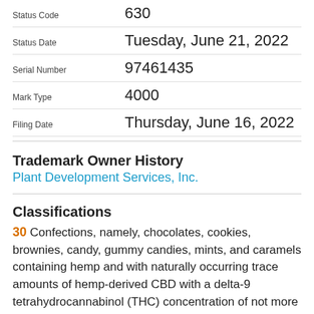| Field | Value |
| --- | --- |
| Status Code | 630 |
| Status Date | Tuesday, June 21, 2022 |
| Serial Number | 97461435 |
| Mark Type | 4000 |
| Filing Date | Thursday, June 16, 2022 |
Trademark Owner History
Plant Development Services, Inc.
Classifications
30 Confections, namely, chocolates, cookies, brownies, candy, gummy candies, mints, and caramels containing hemp and with naturally occurring trace amounts of hemp-derived CBD with a delta-9 tetrahydrocannabinol (THC) concentration of not more than 0.3 percent on a dry weight basis; Confections, namely, chocolates, cookies, brownies, candy, gummy candies, mints, and caramels; Food products, namely, granola-based, cereal based food energy bars containing hemp and with naturally occurring trace amounts of hemp-derived CBD with a delta-9